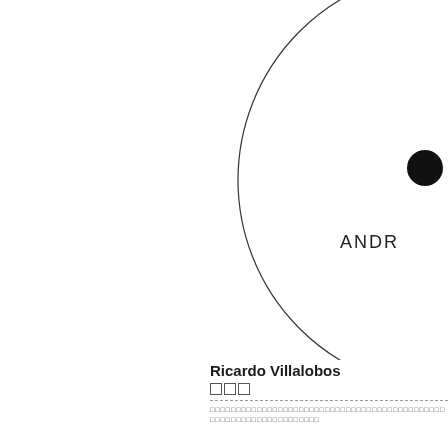[Figure (illustration): A large circle outline (partially visible, cropped on right edge) with a solid black circle/dot near the right center of the large circle. Text 'ANDR' visible (partially cropped) below the dot inside the circle area.]
Ricardo Villalobos
□□□
□□□□□□□□□□□□□□□□□□□□□□□□□□□□□□□□□□□□□□□□□□□□□□□□□□□□□□□□□□□□□□□□□□